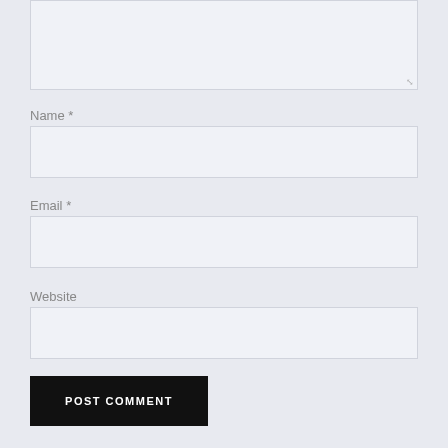[Figure (screenshot): Comment form textarea (top, partially visible, resizable)]
Name *
[Figure (screenshot): Name input text field]
Email *
[Figure (screenshot): Email input text field]
Website
[Figure (screenshot): Website input text field]
POST COMMENT